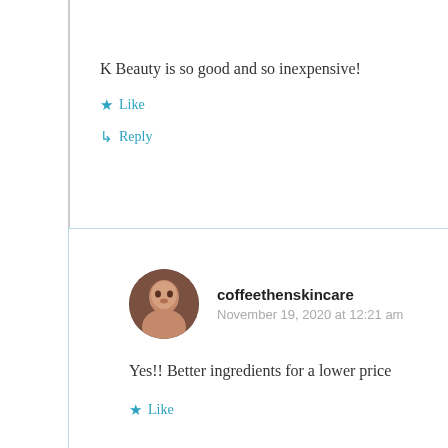K Beauty is so good and so inexpensive!
Like
Reply
coffeethenskincare
November 19, 2020 at 12:21 am
Yes!! Better ingredients for a lower price
Like
Reply